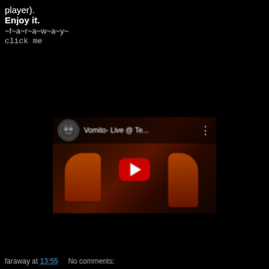player).
Enjoy it.
~f~a~r~a~w~a~y~
click me
[Figure (screenshot): YouTube embedded video player showing 'Vomito- Live @ Te...' with a circular owl/mandala logo avatar, dark reddish performance video thumbnail, red play button in center, and three-dot menu icon.]
faraway at 13:55     No comments: